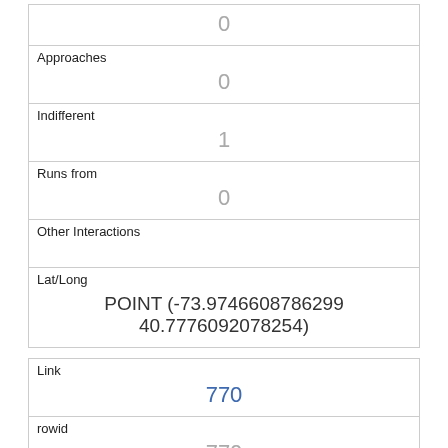| 0 |
| Approaches | 0 |
| Indifferent | 1 |
| Runs from | 0 |
| Other Interactions |  |
| Lat/Long | POINT (-73.9746608786299 40.7776092078254) |
| Link | 770 |
| rowid | 770 |
| longitude | -73.95977827620291 |
| latitude | 40.79207733767571 |
| Unique Squirrel ID |  |